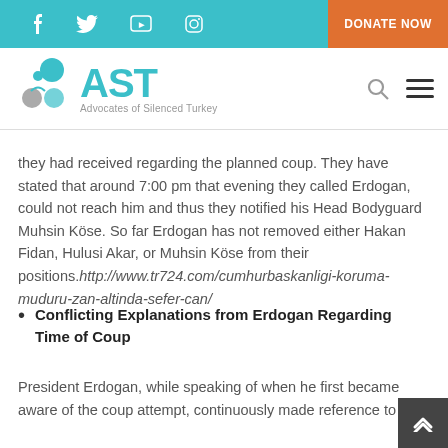AST - Advocates of Silenced Turkey | Navigation bar with social icons and DONATE NOW button
[Figure (logo): AST - Advocates of Silenced Turkey logo with circular icon and teal text]
they had received regarding the planned coup. They have stated that around 7:00 pm that evening they called Erdogan, could not reach him and thus they notified his Head Bodyguard Muhsin Köse. So far Erdogan has not removed either Hakan Fidan, Hulusi Akar, or Muhsin Köse from their positions.http://www.tr724.com/cumhurbaskanligi-koruma-muduru-zan-altinda-sefer-can/
Conflicting Explanations from Erdogan Regarding Time of Coup
President Erdogan, while speaking of when he first became aware of the coup attempt, continuously made reference to